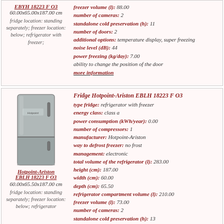EBYH 18223 F O3 60.00x65.00x187.00 cm fridge location: standing separately; freezer location: below; refrigerator with freezer;
freezer volume (l): 88.00 number of cameras: 2 standalone cold preservation (h): 11 number of doors: 2 additional options: temperature display, super freezing noise level (dB): 44 power freezing (kg/day): 7.00 ability to change the position of the door more information
[Figure (photo): Photo of a silver/grey fridge-freezer (Hotpoint-Ariston EBLH 18223 F O3)]
Hotpoint-Ariston EBLH 18223 F O3 60.00x65.50x187.00 cm fridge location: standing separately; freezer location: below; refrigerator
Fridge Hotpoint-Ariston EBLH 18223 F O3 type fridge: refrigerator with freezer energy class: class a power consumption (kWh/year): 0.00 number of compressors: 1 manufacturer: Hotpoint-Ariston way to defrost freezer: no frost management: electronic total volume of the refrigerator (l): 283.00 height (cm): 187.00 width (cm): 60.00 depth (cm): 65.50 refrigerator compartment volume (l): 210.00 freezer volume (l): 73.00 number of cameras: 2 standalone cold preservation (h): 13 number of doors: 2 additional options: super freezing, super cooling noise level (dB): 44 power freezing (kg/day): 7.00 mode vacation